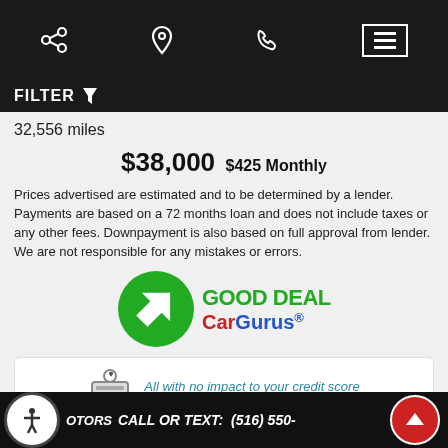[Figure (screenshot): Mobile navigation bar with share, location, phone, and menu icons on dark background]
FILTER
32,556 miles
$38,000 $425 Monthly
Prices advertised are estimated and to be determined by a lender. Payments are based on a 72 months loan and does not include taxes or any other fees. Downpayment is also based on full approval from lender. We are not responsible for any mistakes or errors.
[Figure (logo): CarGurus Good Deal badge with green circular arrow logo and CarGurus text]
All with no impact to your credit score
Estimate financing
[Figure (logo): Capital One logo]
Text Us!
Chat with Us!
[Figure (screenshot): Bottom banner with OTORS text, CALL OR TEXT: (516) 550-, accessibility icon, and up arrow button]